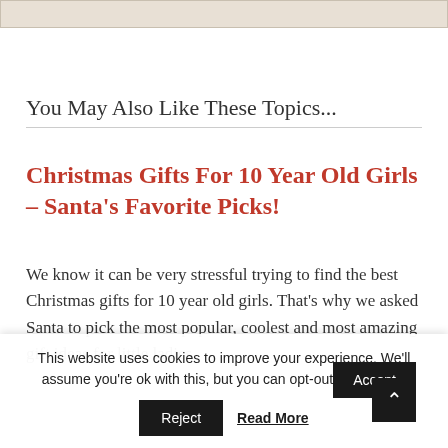[Figure (photo): Top portion of a decorative image, partially visible at top of page]
You May Also Like These Topics...
Christmas Gifts For 10 Year Old Girls – Santa's Favorite Picks!
We know it can be very stressful trying to find the best Christmas gifts for 10 year old girls. That's why we asked Santa to pick the most popular, coolest and most amazing gift ideas for little ladies of this age. Little ladies should get presents which they'd love. Now...
This website uses cookies to improve your experience. We'll assume you're ok with this, but you can opt-out if you wish.